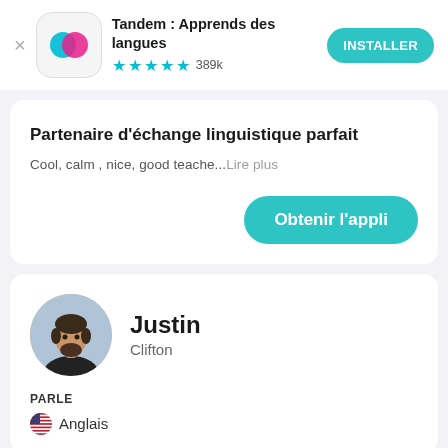[Figure (logo): Tandem app advertisement banner with app icon, name, star rating, and install button]
Partenaire d'échange linguistique parfait
Cool, calm , nice, good teache...Lire plus
Obtenir l'appli
[Figure (photo): Circular profile photo of Justin, a young man with beard wearing a black tank top]
Justin
Clifton
PARLE
Anglais